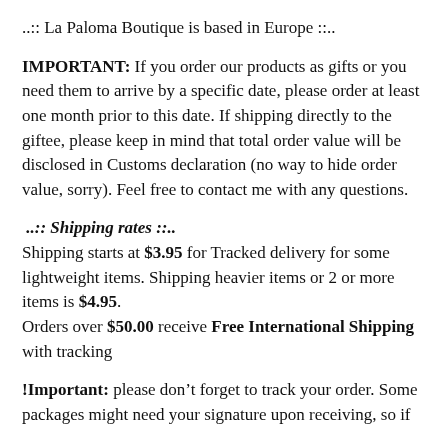..:: La Paloma Boutique is based in Europe ::..
IMPORTANT: If you order our products as gifts or you need them to arrive by a specific date, please order at least one month prior to this date. If shipping directly to the giftee, please keep in mind that total order value will be disclosed in Customs declaration (no way to hide order value, sorry). Feel free to contact me with any questions.
..:: Shipping rates ::..
Shipping starts at $3.95 for Tracked delivery for some lightweight items. Shipping heavier items or 2 or more items is $4.95.
Orders over $50.00 receive Free International Shipping with tracking
!Important: please don’t forget to track your order. Some packages might need your signature upon receiving, so if